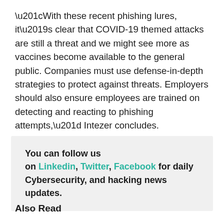“With these recent phishing lures, it’s clear that COVID-19 themed attacks are still a threat and we might see more as vaccines become available to the general public. Companies must use defense-in-depth strategies to protect against threats. Employers should also ensure employees are trained on detecting and reacting to phishing attempts,” Intezer concludes.
You can follow us on Linkedin, Twitter, Facebook for daily Cybersecurity, and hacking news updates.
Also Read